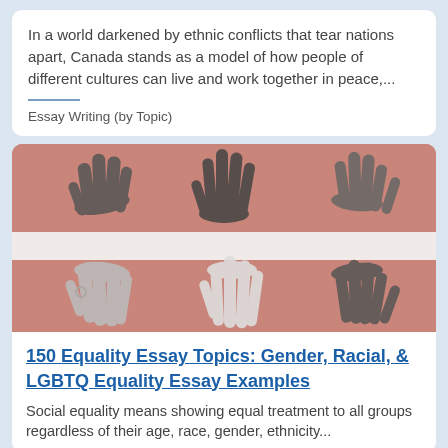In a world darkened by ethnic conflicts that tear nations apart, Canada stands as a model of how people of different cultures can live and work together in peace,...
Essay Writing (by Topic)
[Figure (photo): Black and white photo of multiple diverse hands resting on a surface against a pink/rose background, split into two horizontal bands.]
150 Equality Essay Topics: Gender, Racial, & LGBTQ Equality Essay Examples
Social equality means showing equal treatment to all groups regardless of their age, race, gender, ethnicity...